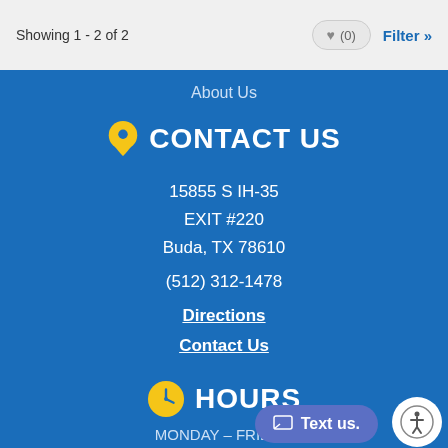Showing 1 - 2 of 2
About Us
CONTACT US
15855 S IH-35
EXIT #220
Buda, TX 78610
(512) 312-1478
Directions
Contact Us
HOURS
MONDAY – FRIDAY: